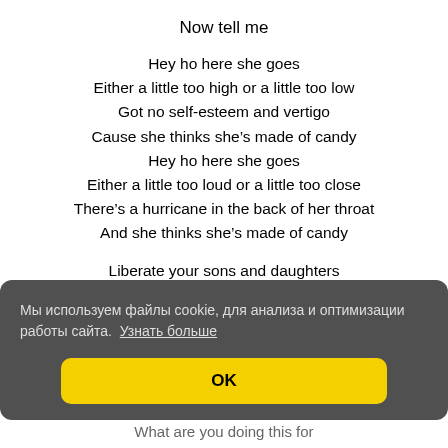Now tell me
Hey ho here she goes
Either a little too high or a little too low
Got no self-esteem and vertigo
Cause she thinks she’s made of candy
Hey ho here she goes
Either a little too loud or a little too close
There’s a hurricane in the back of her throat
And she thinks she’s made of candy
Liberate your sons and daughters
Мы используем файлы cookie, для анализа и оптимизации работы сайта. Узнать больше
OK
What are you doing this for